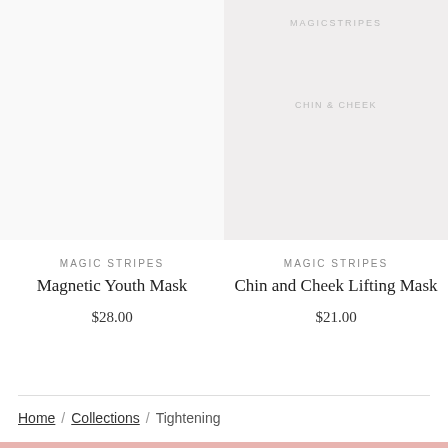[Figure (photo): Product image placeholder for Magnetic Youth Mask (left card, mostly white/blank)]
MAGIC STRIPES
Magnetic Youth Mask
$28.00
[Figure (photo): Product image placeholder for Chin and Cheek Lifting Mask with watermark text MAGICSTRIPES and CHIN & CHEEK on light grey background]
MAGIC STRIPES
Chin and Cheek Lifting Mask
$21.00
Home / Collections / Tightening